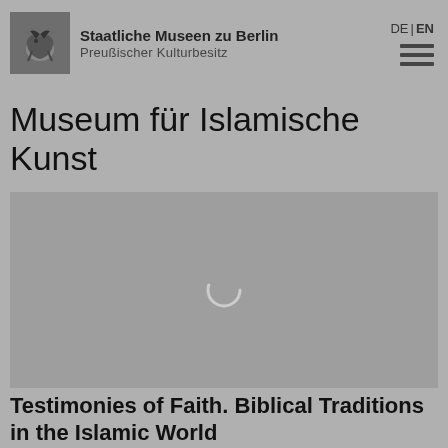[Figure (logo): Staatliche Museen zu Berlin eagle logo on dark grey background]
Staatliche Museen zu Berlin
Preußischer Kulturbesitz
DE | EN
Museum für Islamische Kunst
[Figure (photo): Loading image placeholder with spinner arc on grey background]
Testimonies of Faith. Biblical Traditions in the Islamic World